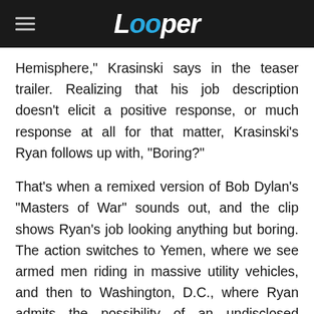Looper
Hemisphere," Krasinski says in the teaser trailer. Realizing that his job description doesn't elicit a positive response, or much response at all for that matter, Krasinski's Ryan follows up with, "Boring?"
That's when a remixed version of Bob Dylan's "Masters of War" sounds out, and the clip shows Ryan's job looking anything but boring. The action switches to Yemen, where we see armed men riding in massive utility vehicles, and then to Washington, D.C., where Ryan admits the possibility of an undisclosed individual being a "high-level target." We hear words like "interrogation" and "Bin Laden" as